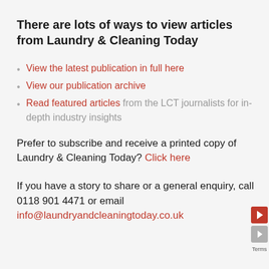There are lots of ways to view articles from Laundry & Cleaning Today
View the latest publication in full here
View our publication archive
Read featured articles from the LCT journalists for in-depth industry insights
Prefer to subscribe and receive a printed copy of Laundry & Cleaning Today? Click here
If you have a story to share or a general enquiry, call 0118 901 4471 or email info@laundryandcleaningtoday.co.uk